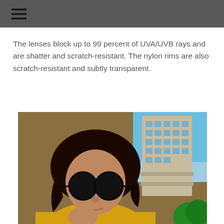The lenses block up to 99 percent of UVA/UVB rays and are shatter and scratch-resistant. The nylon rims are also scratch-resistant and subtly transparent.
[Figure (photo): A young woman wearing large round dark sunglasses and a yellow top, posing outdoors with a building and blue sky in the background.]